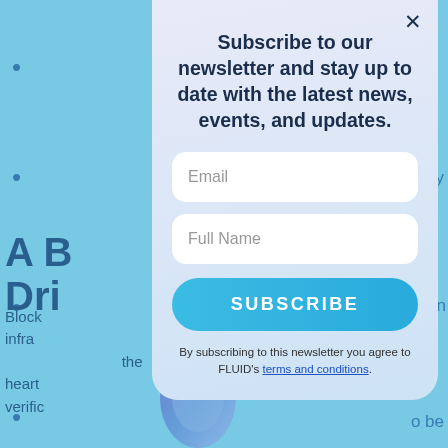[Figure (screenshot): Website screenshot showing a newsletter subscription modal overlay on a light blue background. The modal contains a bold title 'Subscribe to our newsletter and stay up to date with the latest news, events, and updates.', an Email input field, a Full Name input field, a SUBSCRIBE button, and a footer with text 'By subscribing to this newsletter you agree to FLUID's terms and conditions.' Behind the modal, partially visible bullet points and a heading 'A B...gy Dri...' are visible on a light blue background. A hamburger menu icon and close (×) button are also visible.]